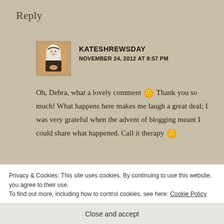Reply
KATESHREWSDAY
NOVEMBER 24, 2012 AT 8:57 PM
[Figure (illustration): Small avatar image of a medieval painting depicting a woman in white habit/veil, holding something, painted in historical style]
Oh, Debra, what a lovely comment 🙂 Thank you so much! What happens here makes me laugh a great deal; I was very grateful when the advent of blogging meant I could share what happened. Call it therapy 🙂
Privacy & Cookies: This site uses cookies. By continuing to use this website, you agree to their use.
To find out more, including how to control cookies, see here: Cookie Policy
Close and accept